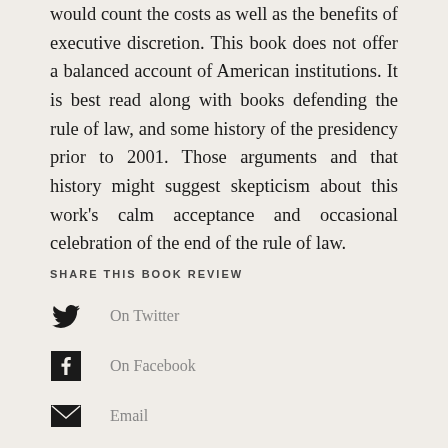would count the costs as well as the benefits of executive discretion. This book does not offer a balanced account of American institutions. It is best read along with books defending the rule of law, and some history of the presidency prior to 2001. Those arguments and that history might suggest skepticism about this work's calm acceptance and occasional celebration of the end of the rule of law.
SHARE THIS BOOK REVIEW
On Twitter
On Facebook
Email
Print